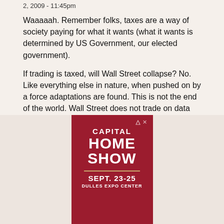2, 2009 - 11:45pm
Waaaaah. Remember folks, taxes are a way of society paying for what it wants (what it wants is determined by US Government, our elected government).
If trading is taxed, will Wall Street collapse? No. Like everything else in nature, when pushed on by a force adaptations are found. This is not the end of the world. Wall Street does not trade on data anyway, but impressions.
[Figure (illustration): Advertisement for Capital Home Show, September 23-25, Dulles Expo Center, on a dark red background with white text]